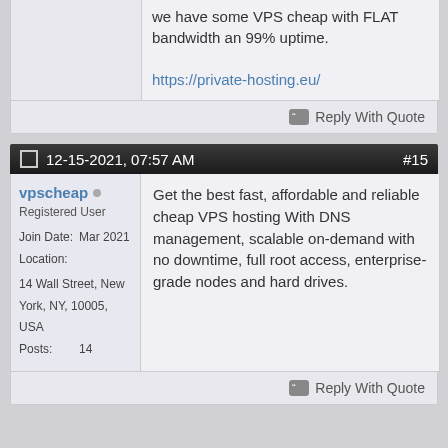we have some VPS cheap with FLAT bandwidth an 99% uptime.
https://private-hosting.eu/
Reply With Quote
12-15-2021, 07:57 AM  #15
vpscheap
Registered User
Join Date: Mar 2021
Location: 14 Wall Street, New York, NY, 10005, USA
Posts: 14
Get the best fast, affordable and reliable cheap VPS hosting With DNS management, scalable on-demand with no downtime, full root access, enterprise-grade nodes and hard drives.
Reply With Quote